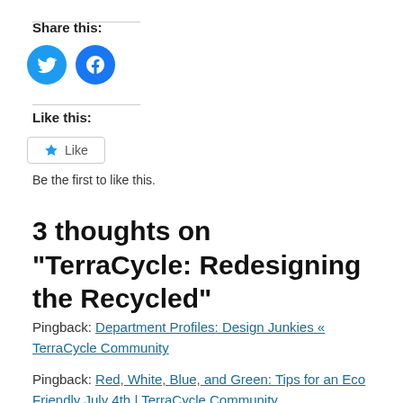Share this:
[Figure (illustration): Two circular social media share buttons: Twitter (bird icon, blue) and Facebook (f icon, blue)]
Like this:
[Figure (illustration): A Like button with a star icon and the text 'Like']
Be the first to like this.
3 thoughts on “TerraCycle: Redesigning the Recycled”
Pingback: Department Profiles: Design Junkies « TerraCycle Community
Pingback: Red, White, Blue, and Green: Tips for an Eco Friendly July 4th | TerraCycle Community